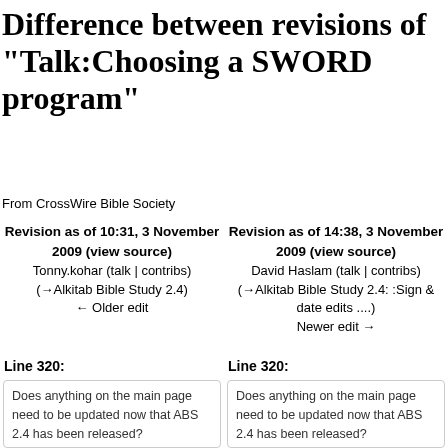Difference between revisions of "Talk:Choosing a SWORD program"
From CrossWire Bible Society
Revision as of 10:31, 3 November 2009 (view source)
Tonny.kohar (talk | contribs)
(→Alkitab Bible Study 2.4)
← Older edit
Revision as of 14:38, 3 November 2009 (view source)
David Haslam (talk | contribs)
(→Alkitab Bible Study 2.4: :Sign & date edits ....)
Newer edit →
Line 320:
Line 320:
Does anything on the main page need to be updated now that ABS 2.4 has been released? [[User:David Haslam|David Haslam]] 09:41, 3 November
Does anything on the main page need to be updated now that ABS 2.4 has been released? [[User:David Haslam|David Haslam]] 09:41, 3 November